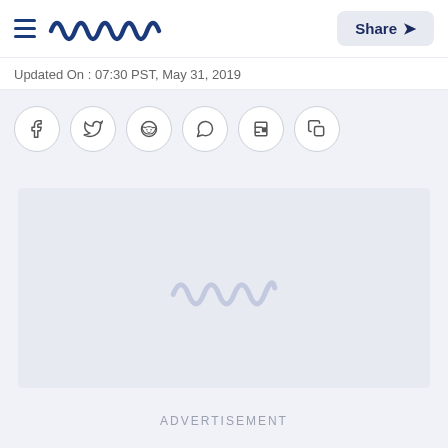Meaww — Share
Updated On : 07:30 PST, May 31, 2019
[Figure (other): Social sharing icons row: Facebook, Twitter, Reddit, WhatsApp, Flipboard, Copy link]
[Figure (other): Advertisement placeholder block with Meaww logo watermark]
ADVERTISEMENT